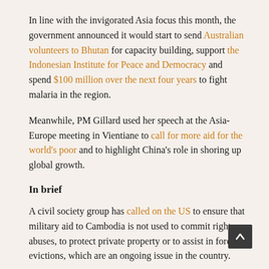In line with the invigorated Asia focus this month, the government announced it would start to send Australian volunteers to Bhutan for capacity building, support the Indonesian Institute for Peace and Democracy and spend $100 million over the next four years to fight malaria in the region.
Meanwhile, PM Gillard used her speech at the Asia-Europe meeting in Vientiane to call for more aid for the world's poor and to highlight China's role in shoring up global growth.
In brief
A civil society group has called on the US to ensure that military aid to Cambodia is not used to commit rights abuses, to protect private property or to assist in forced evictions, which are an ongoing issue in the country.